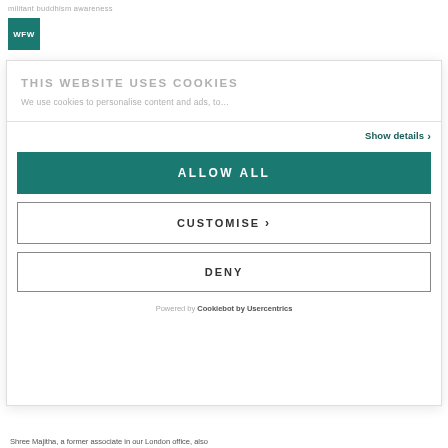[Figure (logo): WFW teal square logo with white text]
THIS WEBSITE USES COOKIES
We use cookies to personalise content and ads, to
Show details >
ALLOW ALL
CUSTOMISE >
DENY
Powered by Cookiebot by Usercentrics
Shree Majitha, a former associate in our London office, also